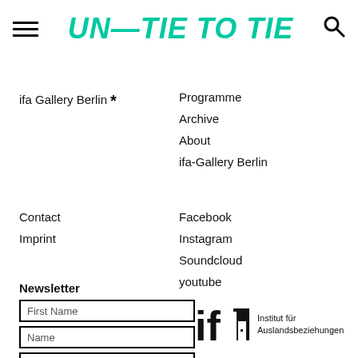UN—TIE TO TIE
ifa Gallery Berlin *
Programme
Archive
About
ifa-Gallery Berlin
Contact
Imprint
Facebook
Instagram
Soundcloud
youtube
Newsletter
First Name
Name
Email
[Figure (logo): ifa Institut für Auslandsbeziehungen logo]